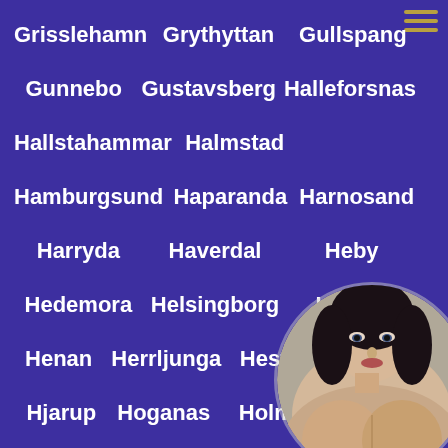Grisslehamn
Grythyttan
Gullspang
Gunnebo
Gustavsberg
Halleforsnas
Hallstahammar
Halmstad
Hamburgsund
Haparanda
Harnosand
Harryda
Haverdal
Heby
Hedemora
Helsingborg
Hemse
Henan
Herrljunga
Hestra
Hindas
Hjarup
Hoganas
Holm
H...
Holo
Hoor
Horby
Horn...
Hovmantorp
Hultafors
Hult...
[Figure (photo): Circular photo of a woman with dark hair partially overlapping the lower right of the page]